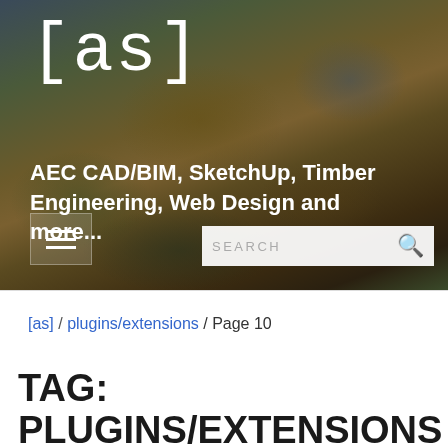[Figure (photo): Header banner with autumn leaves background photo in dark earthy tones of brown, green and grey]
[as]
AEC CAD/BIM, SketchUp, Timber Engineering, Web Design and more...
[Figure (other): Hamburger menu button icon with three horizontal white lines]
SEARCH
[as] / plugins/extensions / Page 10
TAG: PLUGINS/EXTENSIONS